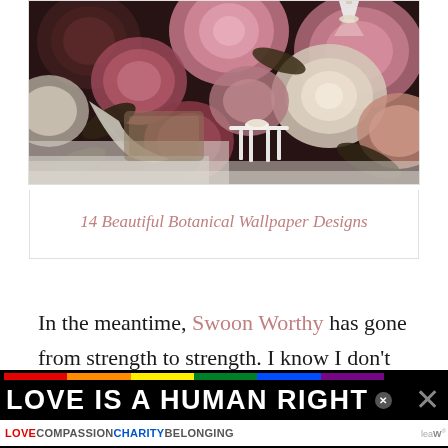[Figure (photo): Interior bedroom scene with dark floral botanical wallpaper featuring large pink and cream roses and peonies on a dark background; a white stool with a bowl, a wicker chair draped with a cream knit throw, and a pendant light visible at top.]
14 Beautiful Botanical Wallpaper Designs
In the meantime, Swoon Worthy has gone from strength to strength. I know I don't post here every day and that was a decision
[Figure (infographic): Advertisement banner: 'LOVE IS A HUMAN RIGHT' in bold white text on black background with rainbow stripe bar. Below: 'LOVE COMPASSION CHARITY BELONGING' in colored text on white background. Close buttons visible.]